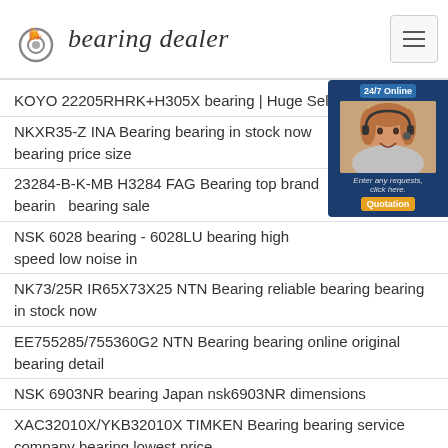bearing dealer
KOYO 22205RHRK+H305X bearing | Huge Selection of
NKXR35-Z INA Bearing bearing in stock now bearing price size
23284-B-K-MB H3284 FAG Bearing top brand bearing bearing sale
NSK 6028 bearing - 6028LU bearing high speed low noise in
NK73/25R IR65X73X25 NTN Bearing reliable bearing bearing in stock now
EE755285/755360G2 NTN Bearing bearing online original bearing detail
NSK 6903NR bearing Japan nsk6903NR dimensions
XAC32010X/YKB32010X TIMKEN Bearing bearing service company bearing lowest price
TIMKEN TAPERED ROLLER BEARING JM822049/JM822010 |